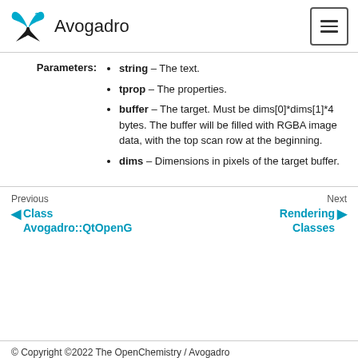Avogadro
string – The text.
tprop – The properties.
buffer – The target. Must be dims[0]*dims[1]*4 bytes. The buffer will be filled with RGBA image data, with the top scan row at the beginning.
dims – Dimensions in pixels of the target buffer.
Previous
◄ Class Avogadro::QtOpenG
Next
Rendering Classes ►
© Copyright ©2022 The OpenChemistry / Avogadro